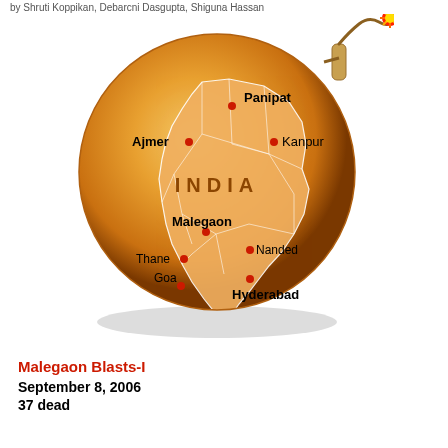by Shruti Koppikan, Debarcni Dasgupta, Shiguna Hassan
[Figure (illustration): A globe-shaped bomb illustration showing a map of India with city location markers (red dots) and labels: Panipat, Ajmer, Kanpur, Malegaon, Thane, Nanded, Goa, Hyderabad. The bomb has a lit fuse with a red spark at the top right. The globe is golden/orange colored with India shown in a lighter orange tone.]
Malegaon Blasts-I
September 8, 2006
37 dead